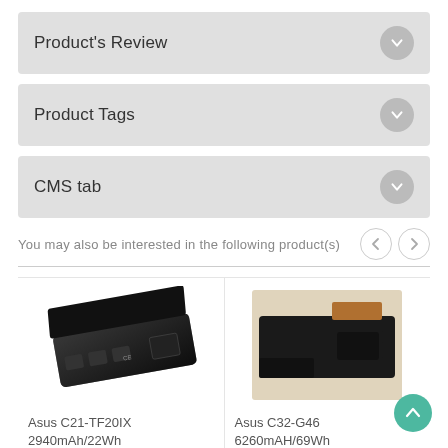Product's Review
Product Tags
CMS tab
You may also be interested in the following product(s)
[Figure (photo): Asus C21-TF20IX laptop battery, black, photographed at an angle]
Asus C21-TF20IX 2940mAh/22Wh Replacement Laptop...
[Figure (photo): Asus C32-G46 laptop battery, black with copper contacts, on beige background]
Asus C32-G46 6260mAH/69Wh Replacement L...